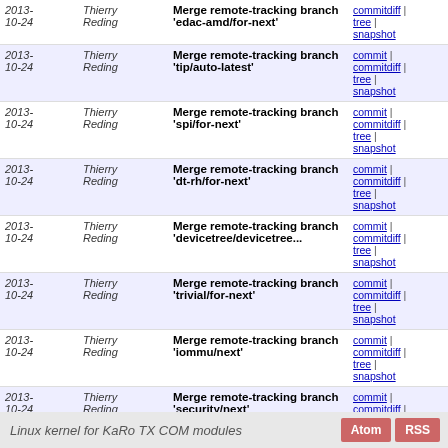| Date | Author | Message | Links |
| --- | --- | --- | --- |
| 2013-10-24 | Thierry Reding | Merge remote-tracking branch 'edac-amd/for-next' | commit | commitdiff | tree | snapshot |
| 2013-10-24 | Thierry Reding | Merge remote-tracking branch 'tip/auto-latest' | commit | commitdiff | tree | snapshot |
| 2013-10-24 | Thierry Reding | Merge remote-tracking branch 'spi/for-next' | commit | commitdiff | tree | snapshot |
| 2013-10-24 | Thierry Reding | Merge remote-tracking branch 'dt-rh/for-next' | commit | commitdiff | tree | snapshot |
| 2013-10-24 | Thierry Reding | Merge remote-tracking branch 'devicetree/devicetree...' | commit | commitdiff | tree | snapshot |
| 2013-10-24 | Thierry Reding | Merge remote-tracking branch 'trivial/for-next' | commit | commitdiff | tree | snapshot |
| 2013-10-24 | Thierry Reding | Merge remote-tracking branch 'iommu/next' | commit | commitdiff | tree | snapshot |
| 2013-10-24 | Thierry Reding | Merge remote-tracking branch 'security/next' | commit | commitdiff | tree | snapshot |
| 2013-10-24 | Thierry Reding | Merge remote-tracking branch 'regulator/for-next' | commit | commitdiff | tree | snapshot |
next
Linux kernel for KaRo TX COM modules